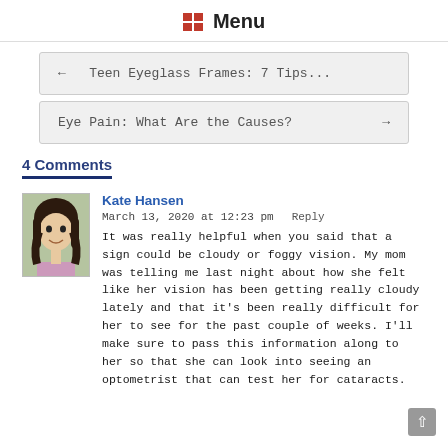Menu
← Teen Eyeglass Frames: 7 Tips...
Eye Pain: What Are the Causes? →
4 Comments
Kate Hansen
March 13, 2020 at 12:23 pm   Reply
It was really helpful when you said that a sign could be cloudy or foggy vision. My mom was telling me last night about how she felt like her vision has been getting really cloudy lately and that it's been really difficult for her to see for the past couple of weeks. I'll make sure to pass this information along to her so that she can look into seeing an optometrist that can test her for cataracts.